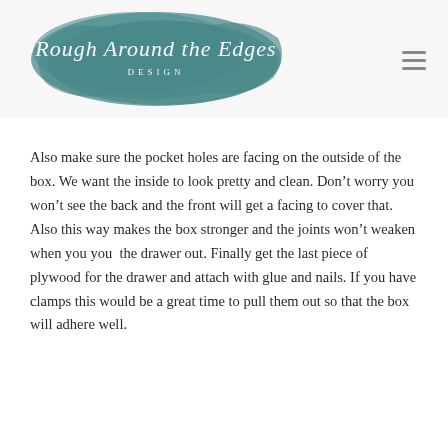Rough Around the Edges DESIGN
Also make sure the pocket holes are facing on the outside of the box. We want the inside to look pretty and clean. Don’t worry you won’t see the back and the front will get a facing to cover that. Also this way makes the box stronger and the joints won’t weaken when you you the drawer out. Finally get the last piece of plywood for the drawer and attach with glue and nails. If you have clamps this would be a great time to pull them out so that the box will adhere well.